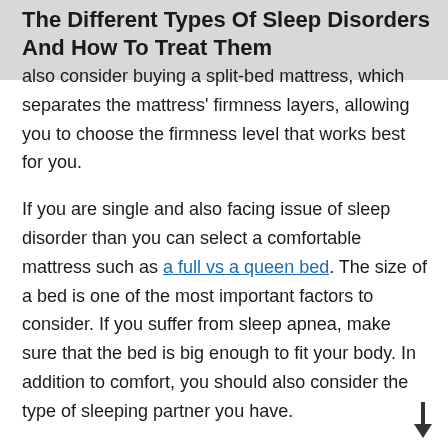The Different Types Of Sleep Disorders And How To Treat Them
also consider buying a split-bed mattress, which separates the mattress' firmness layers, allowing you to choose the firmness level that works best for you.
If you are single and also facing issue of sleep disorder than you can select a comfortable mattress such as a full vs a queen bed. The size of a bed is one of the most important factors to consider. If you suffer from sleep apnea, make sure that the bed is big enough to fit your body. In addition to comfort, you should also consider the type of sleeping partner you have.
Conclusion
To get a good night's sleep, you need to get enough rest. Sleep disorders are often caused by a variety of different factors. As you read on, you can also check the all...